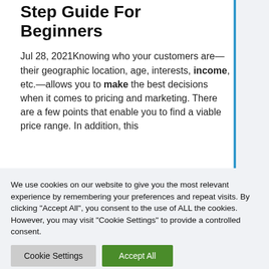Step Guide For Beginners
Jul 28, 2021Knowing who your customers are—their geographic location, age, interests, income, etc.—allows you to make the best decisions when it comes to pricing and marketing. There are a few points that enable you to find a viable price range. In addition, this
We use cookies on our website to give you the most relevant experience by remembering your preferences and repeat visits. By clicking "Accept All", you consent to the use of ALL the cookies. However, you may visit "Cookie Settings" to provide a controlled consent.